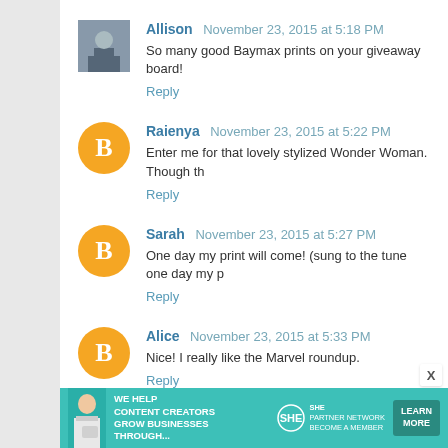Allison November 23, 2015 at 5:18 PM
So many good Baymax prints on your giveaway board!
Reply
Raienya November 23, 2015 at 5:22 PM
Enter me for that lovely stylized Wonder Woman. Though th
Reply
Sarah November 23, 2015 at 5:27 PM
One day my print will come! (sung to the tune one day my p
Reply
Alice November 23, 2015 at 5:33 PM
Nice! I really like the Marvel roundup.
Reply
[Figure (infographic): SHE Partner Network advertisement banner: teal background with woman photo, text 'WE HELP CONTENT CREATORS GROW BUSINESSES THROUGH...' and SHE logo with 'PARTNER NETWORK BECOME A MEMBER' and 'LEARN MORE' button]